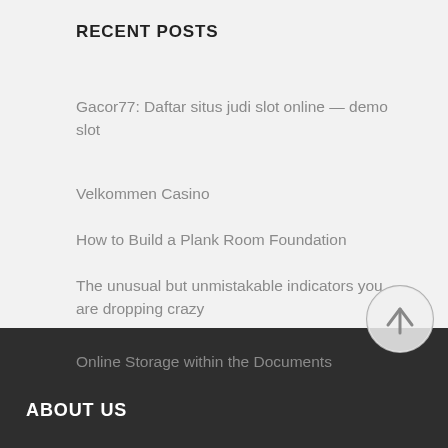RECENT POSTS
Gacor77: Daftar situs judi slot online — demo slot
Velkommen Casino
How to Build a Plank Room Foundation
The unusual but unmistakable indicators you are dropping crazy
Online Storage within the Documents
[Figure (other): Scroll-to-top button: circle with upward arrow]
ABOUT US